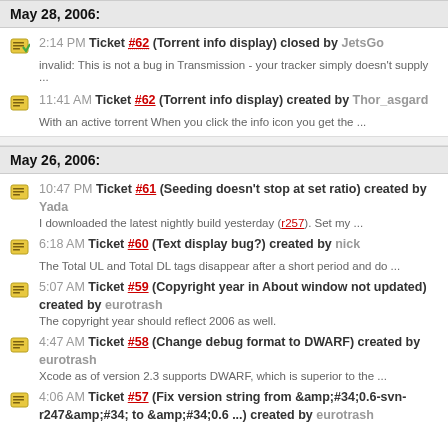May 28, 2006:
2:14 PM Ticket #62 (Torrent info display) closed by JetsGo
invalid: This is not a bug in Transmission - your tracker simply doesn't supply ...
11:41 AM Ticket #62 (Torrent info display) created by Thor_asgard
With an active torrent When you click the info icon you get the ...
May 26, 2006:
10:47 PM Ticket #61 (Seeding doesn't stop at set ratio) created by Yada
I downloaded the latest nightly build yesterday (r257). Set my ...
6:18 AM Ticket #60 (Text display bug?) created by nick
The Total UL and Total DL tags disappear after a short period and do ...
5:07 AM Ticket #59 (Copyright year in About window not updated) created by eurotrash
The copyright year should reflect 2006 as well.
4:47 AM Ticket #58 (Change debug format to DWARF) created by eurotrash
Xcode as of version 2.3 supports DWARF, which is superior to the ...
4:06 AM Ticket #57 (Fix version string from &#34;0.6-svn-r247&#34; to &#34;0.6 ...) created by eurotrash